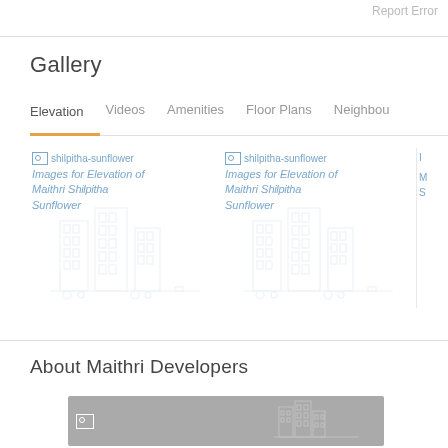Report Error
Gallery
Elevation
Videos
Amenities
Floor Plans
Neighbou
[Figure (screenshot): shilpitha-sunflower image placeholder with link text 'Images for Elevation of Maithri Shilpitha Sunflower' and building watermark]
[Figure (screenshot): shilpitha-sunflower image placeholder with link text 'Images for Elevation of Maithri Shilpitha Sunflower' and building watermark]
[Figure (screenshot): Partially visible third image card]
About Maithri Developers
[Figure (screenshot): Developer logo/image bar with broken image icon and building watermark on grey background]